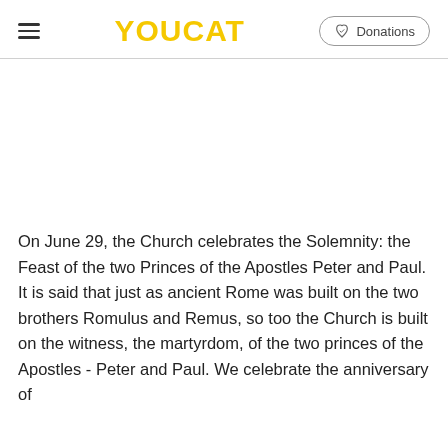YOUCAT | Donations
On June 29, the Church celebrates the Solemnity: the Feast of the two Princes of the Apostles Peter and Paul. It is said that just as ancient Rome was built on the two brothers Romulus and Remus, so too the Church is built on the witness, the martyrdom, of the two princes of the Apostles - Peter and Paul. We celebrate the anniversary of